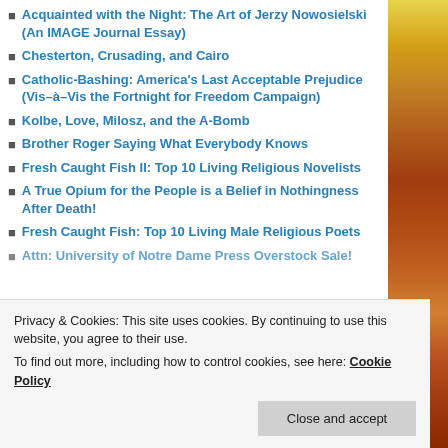Acquainted with the Night: The Art of Jerzy Nowosielski (An IMAGE Journal Essay)
Chesterton, Crusading, and Cairo
Catholic-Bashing: America's Last Acceptable Prejudice (Vis–à–Vis the Fortnight for Freedom Campaign)
Kolbe, Love, Milosz, and the A-Bomb
Brother Roger Saying What Everybody Knows
Fresh Caught Fish II: Top 10 Living Religious Novelists
A True Opium for the People is a Belief in Nothingness After Death!
Fresh Caught Fish: Top 10 Living Male Religious Poets
Attn: University of Notre Dame Press Overstock Sale!
Privacy & Cookies: This site uses cookies. By continuing to use this website, you agree to their use. To find out more, including how to control cookies, see here: Cookie Policy
Close and accept